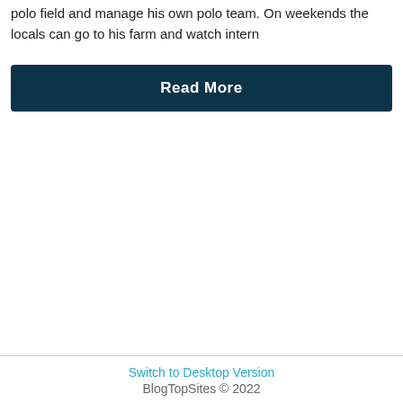polo field and manage his own polo team. On weekends the locals can go to his farm and watch intern
Read More
Switch to Desktop Version
BlogTopSites © 2022